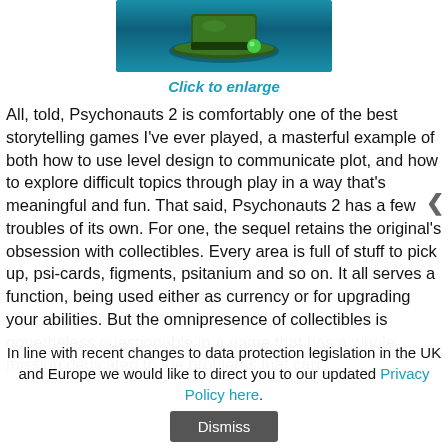[Figure (screenshot): Game screenshot showing a wizard/character hat with green gem on a teal/blue background]
Click to enlarge
All, told, Psychonauts 2 is comfortably one of the best storytelling games I've ever played, a masterful example of both how to use level design to communicate plot, and how to explore difficult topics through play in a way that's meaningful and fun. That said, Psychonauts 2 has a few troubles of its own. For one, the sequel retains the original's obsession with collectibles. Every area is full of stuff to pick up, psi-cards, figments, psitanium and so on. It all serves a function, being used either as currency or for upgrading your abilities. But the omnipresence of collectibles is nonetheless questionable in a game that has a whole mission dedicated to the problems that can
In line with recent changes to data protection legislation in the UK and Europe we would like to direct you to our updated Privacy Policy here.